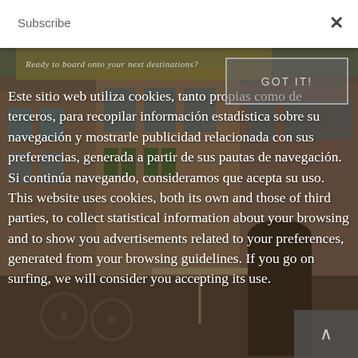Subscribe
[Figure (photo): Background photo of a European street scene with colorful buildings, bicycles, and architectural details. Overlaid with a semi-transparent dark filter. A banner reads 'Ready to board onto your next destinations?']
Este sitio web utiliza cookies, tanto propias como de terceros, para recopilar información estadística sobre su navegación y mostrarle publicidad relacionada con sus preferencias, generada a partir de sus pautas de navegación. Si continúa navegando, consideramos que acepta su uso. This website uses cookies, both its own and those of third parties, to collect statistical information about your browsing and to show you advertisements related to your preferences, generated from your browsing guidelines. If you go on surfing, we will consider you accepting its use.